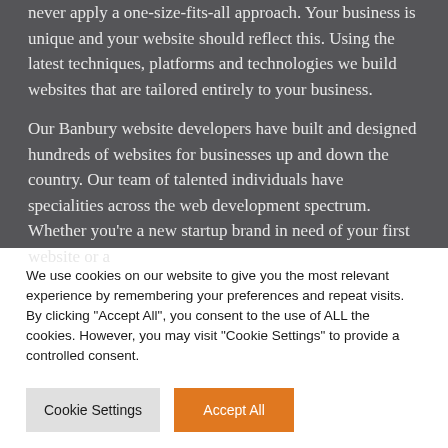never apply a one-size-fits-all approach. Your business is unique and your website should reflect this. Using the latest techniques, platforms and technologies we build websites that are tailored entirely to your business.
Our Banbury website developers have built and designed hundreds of websites for businesses up and down the country. Our team of talented individuals have specialities across the web development spectrum. Whether you're a new startup brand in need of your first website or a
We use cookies on our website to give you the most relevant experience by remembering your preferences and repeat visits. By clicking "Accept All", you consent to the use of ALL the cookies. However, you may visit "Cookie Settings" to provide a controlled consent.